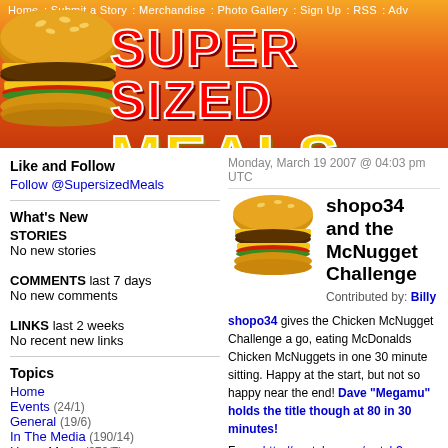Home : Submit a Story : Merchandise : Photo Gallery : Sign Up : RSS : Adv
[Figure (logo): SuperSizedMeals.com logo with large burger image on orange/red gradient background. Text reads SUPER SIZED MEALS.com in red and yellow Impact font]
Like and Follow
Follow @SupersizedMeals
What's New
STORIES
No new stories
COMMENTS last 7 days
No new comments
LINKS last 2 weeks
No recent new links
Topics
Home
Events (24/1)
General (19/6)
In The Media (190/14)
Home Made (379/7)
Eating Out (337/7)
Monday, March 19 2007 @ 04:03 pm UTC
shopo34 and the McNugget Challenge
Contributed by: Billy
shopo34 gives the Chicken McNugget Challenge a go, eating McDonalds Chicken McNuggets in one 30 minute sitting. Happy at the start, but not so happy near the end! Dave "Megamu" holds the title though at 80 in 30 minutes!
From: http://youtube.com/watch?v=b6FhVMfxDQA